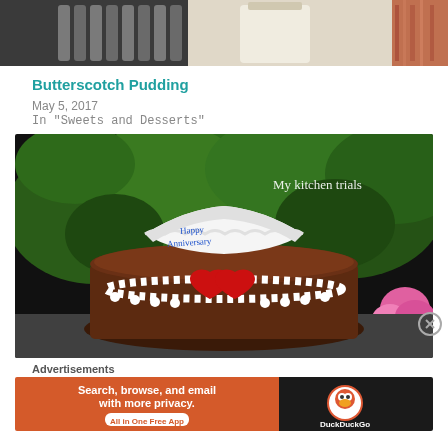[Figure (photo): Top portion of a food photo showing kitchen/baking items - piping tips, milk glass, and patterned fabric]
Butterscotch Pudding
May 5, 2017
In "Sweets and Desserts"
[Figure (photo): Chocolate cake with red and white frosting hearts and a "Happy Anniversary" message topper, with green foliage and pink flower in background. Watermark reads: My kitchen trials]
Advertisements
[Figure (other): DuckDuckGo advertisement banner: Search, browse, and email with more privacy. All in One Free App. DuckDuckGo logo on right side.]